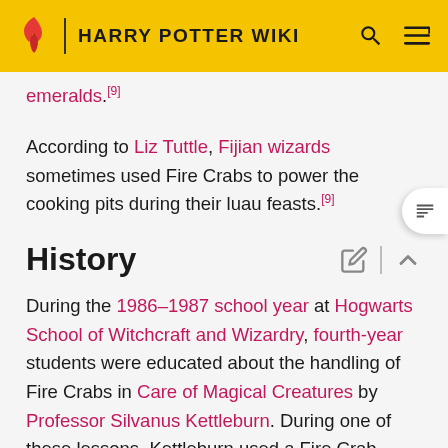HARRY POTTER WIKI
emeralds.[9]
According to Liz Tuttle, Fijian wizards sometimes used Fire Crabs to power the cooking pits during their luau feasts.[9]
History
During the 1986–1987 school year at Hogwarts School of Witchcraft and Wizardry, fourth-year students were educated about the handling of Fire Crabs in Care of Magical Creatures by Professor Silvanus Kettleburn. During one of these lessons, Kettleburn used a Fire Crab named Hieronymus to show his students.[9]